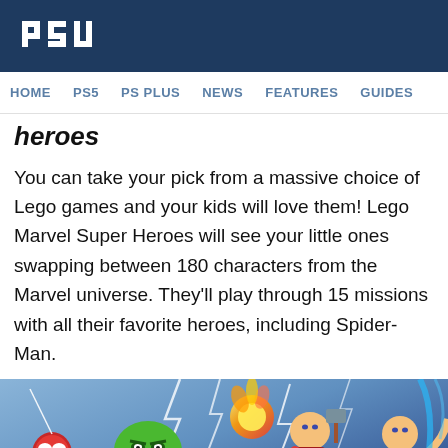PSU
HOME  PS5  PS PLUS  NEWS  FEATURES  GUIDES
heroes
You can take your pick from a massive choice of Lego games and your kids will love them! Lego Marvel Super Heroes will see your little ones swapping between 180 characters from the Marvel universe. They'll play through 15 missions with all their favorite heroes, including Spider-Man.
[Figure (illustration): Lego Marvel Super Heroes game art showing Lego versions of Spider-Man, Human Torch, Thor, Mr. Fantastic, Iron Man, and Hulk in dynamic poses with lightning effects in the background.]